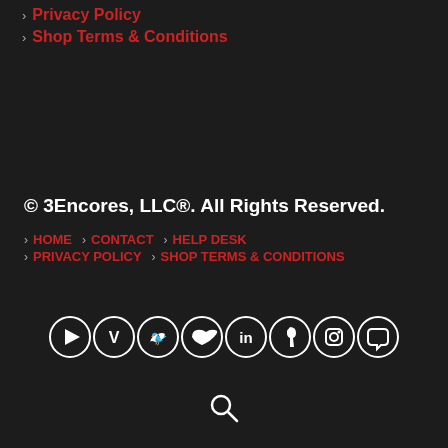Privacy Policy
Shop Terms & Conditions
© 3Encores, LLC®. All Rights Reserved.
HOME  CONTACT  HELP DESK  PRIVACY POLICY  SHOP TERMS & CONDITIONS
[Figure (other): Row of 8 social media icons in white circles on dark background: YouTube, Vimeo, Twitter, SoundCloud, LinkedIn, Apple, Instagram, Facebook]
[Figure (other): Search magnifying glass icon]